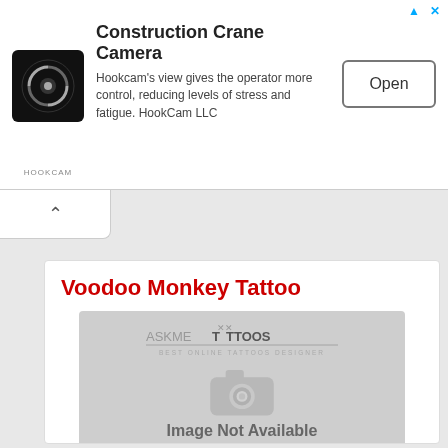[Figure (screenshot): Ad banner for Construction Crane Camera (HookCam) with logo, description text, and Open button]
Construction Crane Camera
Hookcam's view gives the operator more control, reducing levels of stress and fatigue. HookCam LLC
[Figure (screenshot): AskMeTattoos placeholder image with watermark logo, camera icon, and 'Image Not Available' text]
Voodoo Monkey Tattoo
Image Not Available